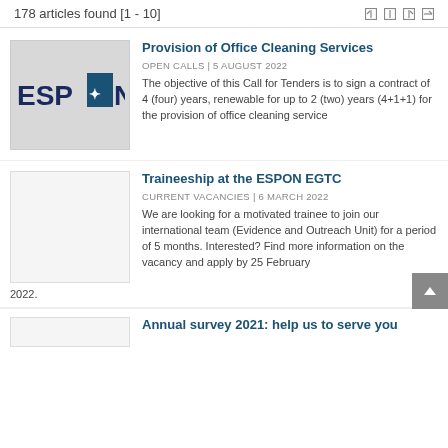178 articles found [1 - 10]
Provision of Office Cleaning Services
OPEN CALLS | 5 August 2022
The objective of this Call for Tenders is to sign a contract of 4 (four) years, renewable for up to 2 (two) years (4+1+1) for the provision of office cleaning service
Traineeship at the ESPON EGTC
CURRENT VACANCIES | 6 March 2022
We are looking for a motivated trainee to join our international team (Evidence and Outreach Unit) for a period of 5 months. Interested? Find more information on the vacancy and apply by 25 February 2022.
Annual survey 2021: help us to serve you